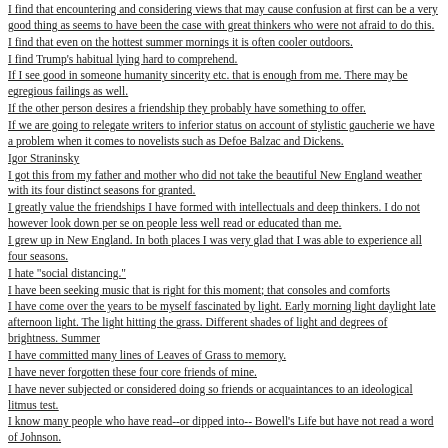I find that encountering and considering views that may cause confusion at first can be a very good thing as seems to have been the case with great thinkers who were not afraid to do this.
I find that even on the hottest summer mornings it is often cooler outdoors.
I find Trump's habitual lying hard to comprehend.
If I see good in someone humanity sincerity etc. that is enough from me. There may be egregious failings as well.
If the other person desires a friendship they probably have something to offer.
If we are going to relegate writers to inferior status on account of stylistic gaucherie we have a problem when it comes to novelists such as Defoe Balzac and Dickens.
Igor Straninsky
I got this from my father and mother who did not take the beautiful New England weather with its four distinct seasons for granted.
I greatly value the friendships I have formed with intellectuals and deep thinkers. I do not however look down per se on people less well read or educated than me.
I grew up in New England. In both places I was very glad that I was able to experience all four seasons.
I hate "social distancing."
I have been seeking music that is right for this moment; that consoles and comforts
I have come over the years to be myself fascinated by light. Early morning light daylight late afternoon light. The light hitting the grass. Different shades of light and degrees of brightness. Summer
I have committed many lines of Leaves of Grass to memory.
I have never forgotten these four core friends of mine.
I have never subjected or considered doing so friends or acquaintances to an ideological litmus test.
I know many people who have read--or dipped into-- Bowell's Life but have not read a word of Johnson.
I know the Latin mass by heart. When words such as Laudamus te